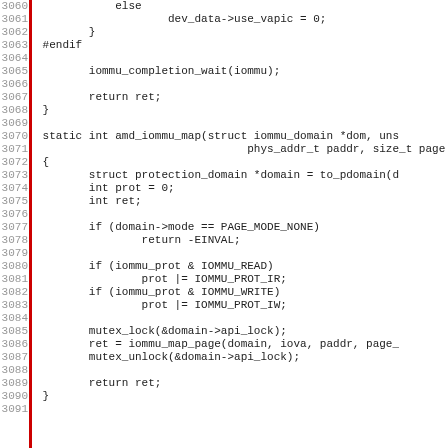[Figure (screenshot): Source code listing in a monospaced font showing C code for AMD IOMMU driver, lines 3060-3091, with a red vertical bar on the left margin and line numbers in gray.]